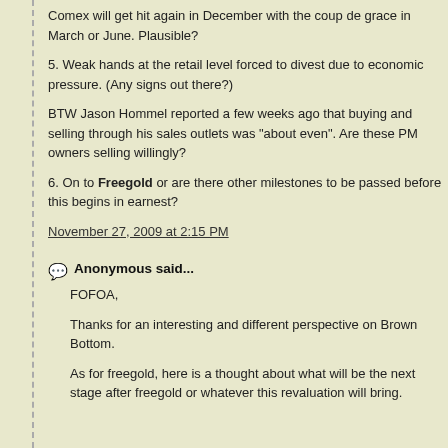Comex will get hit again in December with the coup de grace in March or June. Plausible?
5. Weak hands at the retail level forced to divest due to economic pressure. (Any signs out there?)
BTW Jason Hommel reported a few weeks ago that buying and selling through his sales outlets was "about even". Are these PM owners selling willingly?
6. On to Freegold or are there other milestones to be passed before this begins in earnest?
November 27, 2009 at 2:15 PM
Anonymous said...
FOFOA,
Thanks for an interesting and different perspective on Brown Bottom.
As for freegold, here is a thought about what will be the next stage after freegold or whatever this revaluation will bring.